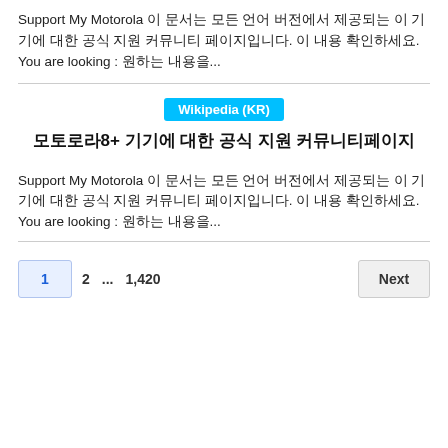Support My Motorola 이 문서는 모든 언어 버전에서 제공되는 이 기기에 대한 공식 지원 커뮤니티 페이지입니다. 이 내용 확인하세요. You are looking : 원하는 내용을...
Wikipedia (KR)
모토로라8+ 기기에 대한 공식 지원 커뮤니티페이지
Support My Motorola 이 문서는 모든 언어 버전에서 제공되는 이 기기에 대한 공식 지원 커뮤니티 페이지입니다. 이 내용 확인하세요. You are looking : 원하는 내용을...
1  2  ...  1,420  Next